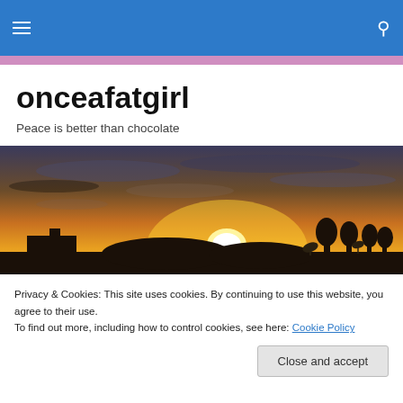onceafatgirl — navigation and search bar
onceafatgirl
Peace is better than chocolate
[Figure (photo): Sunset landscape photo showing silhouette of buildings and trees against a bright orange and golden sky with sun low on the horizon]
Privacy & Cookies: This site uses cookies. By continuing to use this website, you agree to their use.
To find out more, including how to control cookies, see here: Cookie Policy
Yesterday was, as the 12-steppers say, life on life's terms.